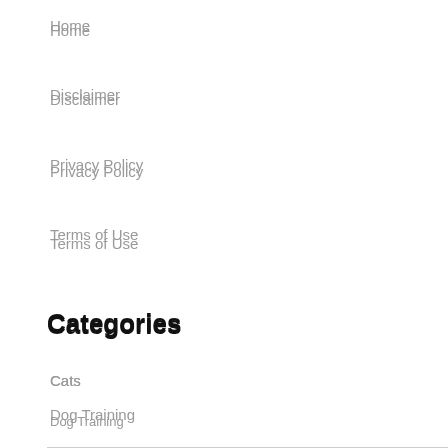Home
Disclaimer
Privacy Policy
Terms of Use
Categories
Cats
Dog Training
Dogs
Funny Animals